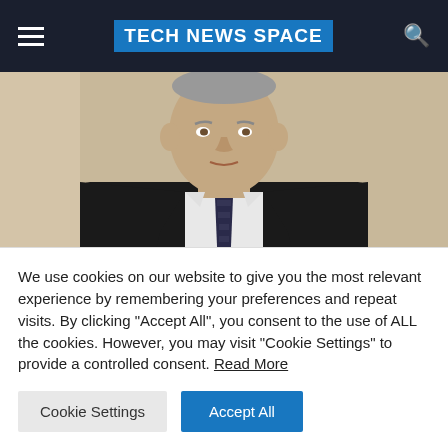TECH NEWS SPACE
[Figure (photo): A man in a dark suit and dotted tie, appears to be an older gentleman, photographed from chest up in an indoor setting.]
CINEMA
Return of 'Law & Order' gets first
We use cookies on our website to give you the most relevant experience by remembering your preferences and repeat visits. By clicking "Accept All", you consent to the use of ALL the cookies. However, you may visit "Cookie Settings" to provide a controlled consent. Read More
Cookie Settings | Accept All